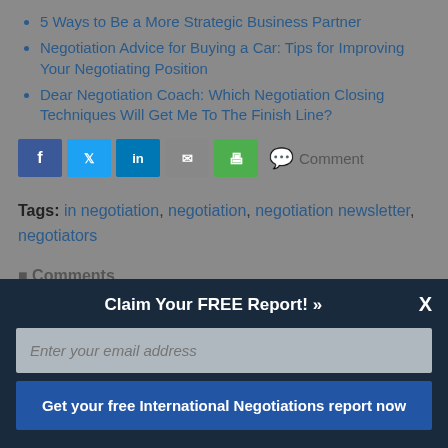5 Ways to Be a More Strategic Business Partner
Negotiation Advice for Buying a Car: Tips for Improving Your Negotiating Position
Dear Negotiation Coach: Which Negotiation Closing Techniques Will Get Me To The Finish Line?
[Figure (infographic): Social share bar with Facebook, Twitter, LinkedIn, Email, Print buttons and Comment link]
Tags: in negotiation, negotiation, negotiation newsletter, negotiators
Comments
[Figure (screenshot): Popup overlay: Claim Your FREE Report! with email input and Get your free International Negotiations report now button]